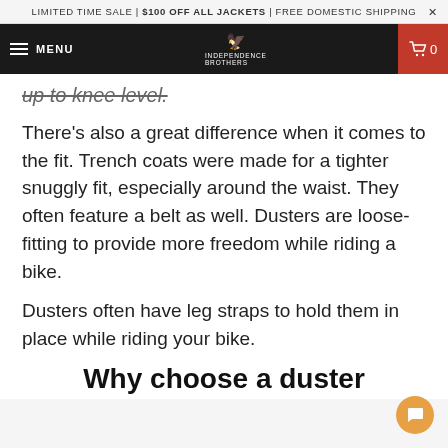LIMITED TIME SALE | $100 OFF ALL JACKETS | FREE DOMESTIC SHIPPING ×
MENU [Independence Brothers logo] 0
up to knee level.
There's also a great difference when it comes to the fit. Trench coats were made for a tighter snuggly fit, especially around the waist. They often feature a belt as well. Dusters are loose-fitting to provide more freedom while riding a bike.
Dusters often have leg straps to hold them in place while riding your bike.
Why choose a duster